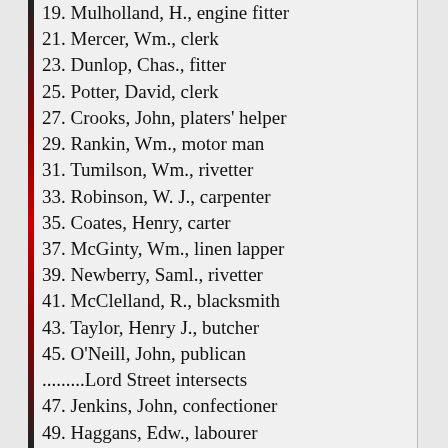19. Mulholland, H., engine fitter
21. Mercer, Wm., clerk
23. Dunlop, Chas., fitter
25. Potter, David, clerk
27. Crooks, John, platers' helper
29. Rankin, Wm., motor man
31. Tumilson, Wm., rivetter
33. Robinson, W. J., carpenter
35. Coates, Henry, carter
37. McGinty, Wm., linen lapper
39. Newberry, Saml., rivetter
41. McClelland, R., blacksmith
43. Taylor, Henry J., butcher
45. O'Neill, John, publican
.........Lord Street intersects
47. Jenkins, John, confectioner
49. Haggans, Edw., labourer
51. Crothers, Wm., engine fitter
53. Maxwell, Geo., labourer
55. Scott, Saml., rivetter
57. Whiteside, Ann J.
59. Somerville, T., blacksmith
61. Oldfield, Wm., coachman
63. Johnston, Richd., labourer
65. McLaverty, Susan